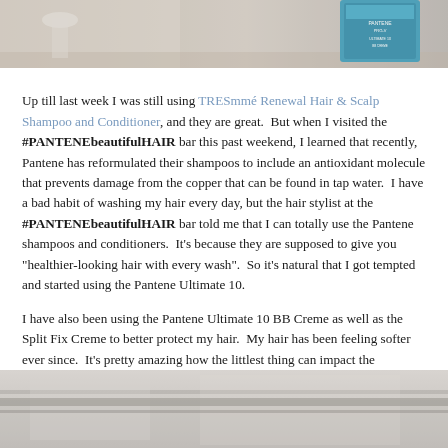[Figure (photo): Top portion of a photo showing a product (teal/blue box) on a light surface, partial view]
Up till last week I was still using TRESmmé Renewal Hair & Scalp Shampoo and Conditioner, and they are great.  But when I visited the #PANTENEbeautifulHAIR bar this past weekend, I learned that recently, Pantene has reformulated their shampoos to include an antioxidant molecule that prevents damage from the copper that can be found in tap water.  I have a bad habit of washing my hair every day, but the hair stylist at the #PANTENEbeautifulHAIR bar told me that I can totally use the Pantene shampoos and conditioners.  It's because they are supposed to give you "healthier-looking hair with every wash".  So it's natural that I got tempted and started using the Pantene Ultimate 10.

I have also been using the Pantene Ultimate 10 BB Creme as well as the Split Fix Creme to better protect my hair.  My hair has been feeling softer ever since.  It's pretty amazing how the littlest thing can impact the condition of the hair so much.  I finally understand why people fuss about hair products.
[Figure (photo): Bottom portion showing a blurred interior scene, partial view from bottom of page]